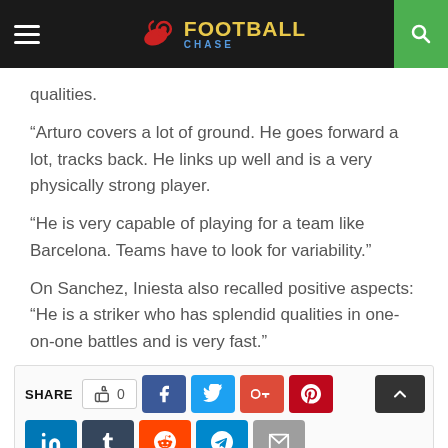Football Chase
qualities.
“Arturo covers a lot of ground. He goes forward a lot, tracks back. He links up well and is a very physically strong player.
“He is very capable of playing for a team like Barcelona. Teams have to look for variability.”
On Sanchez, Iniesta also recalled positive aspects: “He is a striker who has splendid qualities in one-on-one battles and is very fast.”